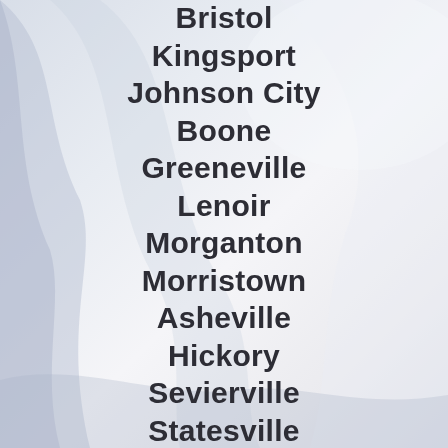[Figure (photo): Background photo of white fabric/clothing with soft folds, light blue-gray tones]
Bristol
Kingsport
Johnson City
Boone
Greeneville
Lenoir
Morganton
Morristown
Asheville
Hickory
Sevierville
Statesville